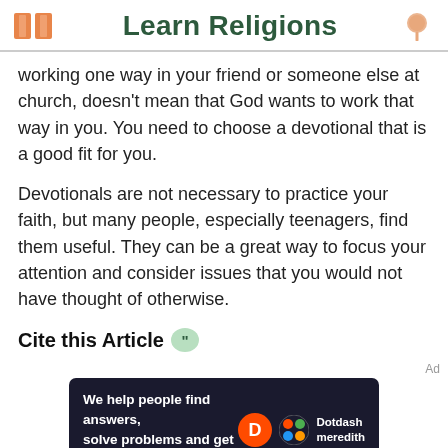Learn Religions
working one way in your friend or someone else at church, doesn't mean that God wants to work that way in you. You need to choose a devotional that is a good fit for you.
Devotionals are not necessary to practice your faith, but many people, especially teenagers, find them useful. They can be a great way to focus your attention and consider issues that you would not have thought of otherwise.
Cite this Article
[Figure (infographic): Dotdash Meredith advertisement banner: 'We help people find answers, solve problems and get inspired.' with Dotdash Meredith logo on dark background]